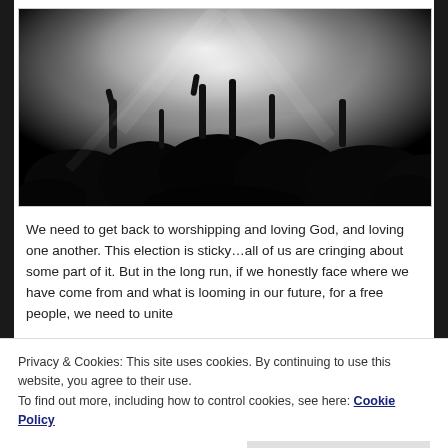[Figure (photo): Black and white photograph of a large crowd of people at a concert or worship gathering, many with hands raised in the air, backlit by bright stage lighting]
We need to get back to worshipping and loving God, and loving one another. This election is sticky…all of us are cringing about some part of it. But in the long run, if we honestly face where we have come from and what is looming in our future, for a free people, we need to unite
Privacy & Cookies: This site uses cookies. By continuing to use this website, you agree to their use.
To find out more, including how to control cookies, see here: Cookie Policy
Close and accept
being who has been shown to have a beating heart at 10